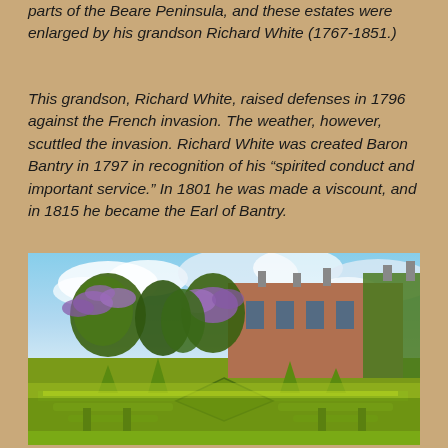parts of the Beare Peninsula, and these estates were enlarged by his grandson Richard White (1767-1851.)
This grandson, Richard White, raised defenses in 1796 against the French invasion. The weather, however, scuttled the invasion. Richard White was created Baron Bantry in 1797 in recognition of his “spirited conduct and important service.” In 1801 he was made a viscount, and in 1815 he became the Earl of Bantry.
[Figure (photo): A photograph of a grand estate house with ivy-covered brick walls, chimneys, and large windows. In the foreground are formal gardens with elaborate box hedge mazes, topiary cones, and flowering wisteria trees with purple blossoms. The sky is partly cloudy and blue.]